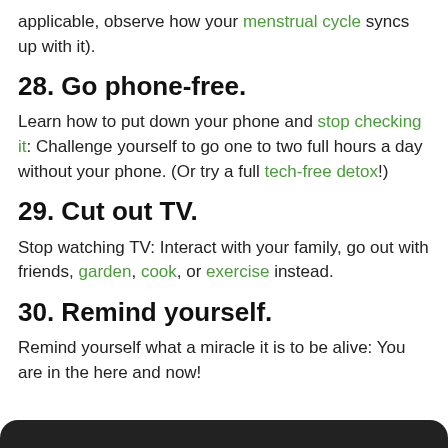applicable, observe how your menstrual cycle syncs up with it).
28. Go phone-free.
Learn how to put down your phone and stop checking it: Challenge yourself to go one to two full hours a day without your phone. (Or try a full tech-free detox!)
29. Cut out TV.
Stop watching TV: Interact with your family, go out with friends, garden, cook, or exercise instead.
30. Remind yourself.
Remind yourself what a miracle it is to be alive: You are in the here and now!